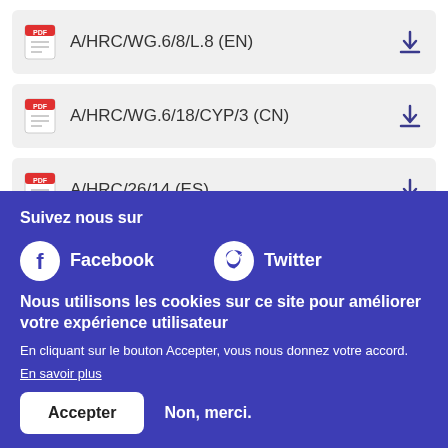A/HRC/WG.6/8/L.8 (EN)
A/HRC/WG.6/18/CYP/3 (CN)
A/HRC/26/14 (ES)
Suivez nous sur
Facebook
Twitter
Nous utilisons les cookies sur ce site pour améliorer votre expérience utilisateur
En cliquant sur le bouton Accepter, vous nous donnez votre accord.
En savoir plus
Accepter
Non, merci.